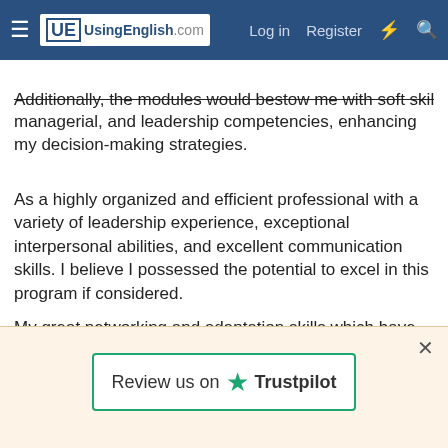UsingEnglish.com — Log in | Register
Additionally, the modules would bestow me with soft skills, managerial, and leadership competencies, enhancing my decision-making strategies.
As a highly organized and efficient professional with a variety of leadership experience, exceptional interpersonal abilities, and excellent communication skills. I believe I possessed the potential to excel in this program if considered.
My great networking and adaptation skills which have helped in the past during mandatory Service to my country would be a great enabler to settle in Hungary properly. I am very excited about internalizing new cultures, ideas and having great
[Figure (other): Trustpilot review banner with close button and 'Review us on Trustpilot' button]